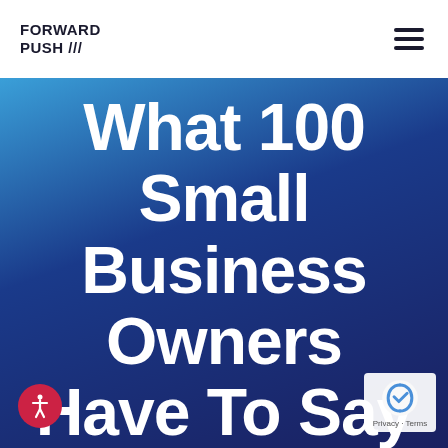FORWARD PUSH ///
What 100 Small Business Owners Have To Say